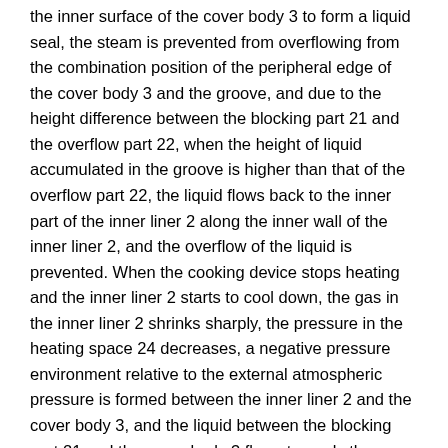the inner surface of the cover body 3 to form a liquid seal, the steam is prevented from overflowing from the combination position of the peripheral edge of the cover body 3 and the groove, and due to the height difference between the blocking part 21 and the overflow part 22, when the height of liquid accumulated in the groove is higher than that of the overflow part 22, the liquid flows back to the inner part of the inner liner 2 along the inner wall of the inner liner 2, and the overflow of the liquid is prevented. When the cooking device stops heating and the inner liner 2 starts to cool down, the gas in the inner liner 2 shrinks sharply, the pressure in the heating space 24 decreases, a negative pressure environment relative to the external atmospheric pressure is formed between the inner liner 2 and the cover body 3, and the liquid between the blocking part 21 and the cover body 3 flows towards the inside of the inner liner 2 under the action of the external atmospheric pressure, so that the negative pressure environment in the inner liner 2 is eliminated, and the cover is opened conveniently.
As a preferred embodiment of the present invention, the height of the overflow portion 22 is not more than 2mm, the